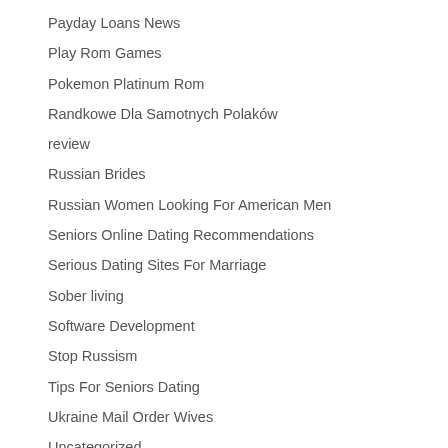Payday Loans News
Play Rom Games
Pokemon Platinum Rom
Randkowe Dla Samotnych Polaków
review
Russian Brides
Russian Women Looking For American Men
Seniors Online Dating Recommendations
Serious Dating Sites For Marriage
Sober living
Software Development
Stop Russism
Tips For Seniors Dating
Ukraine Mail Order Wives
Uncategorized